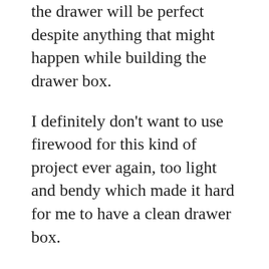the drawer will be perfect despite anything that might happen while building the drawer box.
I definitely don’t want to use firewood for this kind of project ever again, too light and bendy which made it hard for me to have a clean drawer box.
Hope you liked this tutorial as I gave full disclosure of all the stumbles, non-expert ideas, and how I finally made it happen.
If you would like to keep your brand new drawer organized and mess-free, you can check out my Drawer dividers tutorial.